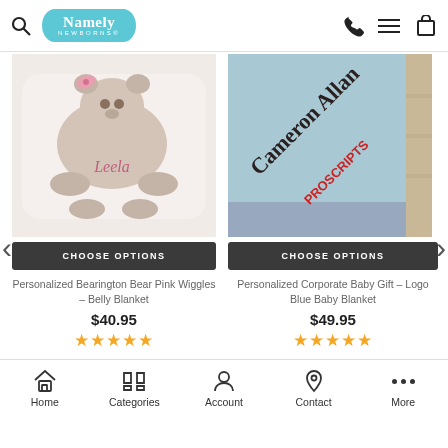Namely Newborns - header with search, logo, phone, menu, cart icons
[Figure (photo): Personalized Bearington Bear Pink Wiggles Belly Blanket product image showing a white bear plush with pink bow and 'Leela' embroidered text]
CHOOSE OPTIONS
Personalized Bearington Bear Pink Wiggles - Belly Blanket
$40.95
★★★★★
[Figure (photo): Personalized Corporate Baby Gift Logo Blue Baby Blanket showing a light blue blanket with 'Cameron Allan PROSCRIPTS' embroidered text and satin trim]
CHOOSE OPTIONS
Personalized Corporate Baby Gift - Logo Blue Baby Blanket
$49.95
★★★★★
Home | Categories | Account | Contact | More